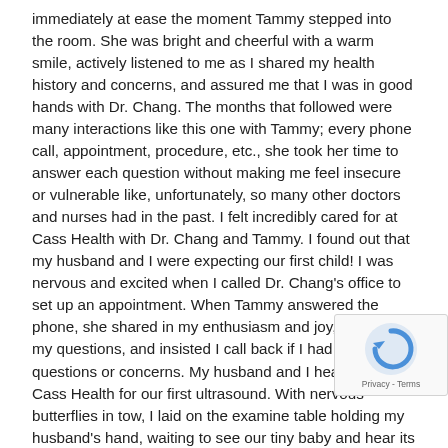immediately at ease the moment Tammy stepped into the room. She was bright and cheerful with a warm smile, actively listened to me as I shared my health history and concerns, and assured me that I was in good hands with Dr. Chang. The months that followed were many interactions like this one with Tammy; every phone call, appointment, procedure, etc., she took her time to answer each question without making me feel insecure or vulnerable like, unfortunately, so many other doctors and nurses had in the past. I felt incredibly cared for at Cass Health with Dr. Chang and Tammy. I found out that my husband and I were expecting our first child! I was nervous and excited when I called Dr. Chang's office to set up an appointment. When Tammy answered the phone, she shared in my enthusiasm and joy, answered my questions, and insisted I call back if I had any questions or concerns. My husband and I headed to Cass Health for our first ultrasound. With nervous butterflies in tow, I laid on the examine table holding my husband's hand, waiting to see our tiny baby and hear its little heartbeat, a baby that we had hoped and prayed for. But the joyous moment never came. Instead, the words that followed were those that no parent wants to hear. We had lost our first baby.  Tammy led us from diagnostic i... to our patient room to meet with Dr. Chang after our ultraso... The moments that followed are those that I will forever be grateful to Tammy for. It was not a procedure or check and she did her...
[Figure (other): reCAPTCHA badge with spinning arrow logo and Privacy - Terms text]